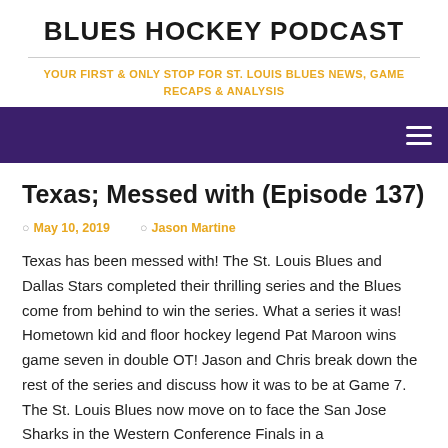BLUES HOCKEY PODCAST
YOUR FIRST & ONLY STOP FOR ST. LOUIS BLUES NEWS, GAME RECAPS & ANALYSIS
Texas; Messed with (Episode 137)
May 10, 2019   Jason Martine
Texas has been messed with! The St. Louis Blues and Dallas Stars completed their thrilling series and the Blues come from behind to win the series. What a series it was! Hometown kid and floor hockey legend Pat Maroon wins game seven in double OT! Jason and Chris break down the rest of the series and discuss how it was to be at Game 7. The St. Louis Blues now move on to face the San Jose Sharks in the Western Conference Finals in a